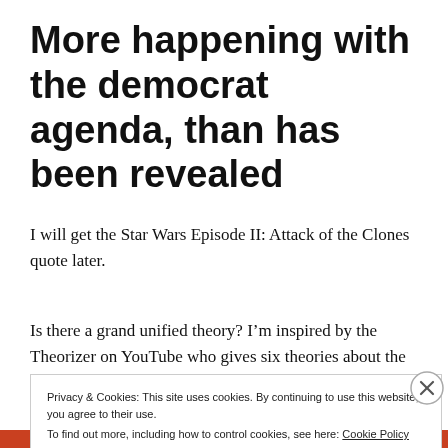More happening with the democrat agenda, than has been revealed
I will get the Star Wars Episode II: Attack of the Clones quote later.
Is there a grand unified theory? I’m inspired by the Theorizer on YouTube who gives six theories about the
Privacy & Cookies: This site uses cookies. By continuing to use this website, you agree to their use.
To find out more, including how to control cookies, see here: Cookie Policy